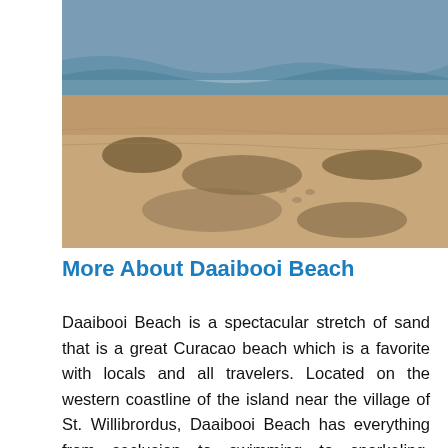[Figure (photo): A beach scene showing sandy shore with water and dark sand/rock patterns, viewed from above or at a low angle.]
More About Daaibooi Beach
Daaibooi Beach is a spectacular stretch of sand that is a great Curacao beach which is a favorite with locals and all travelers. Located on the western coastline of the island near the village of St. Willibrordus, Daaibooi Beach has everything from seclusion to swimming to snorkeling. Daaibooi Beach is situated in a tropical paradise with plenty of palm trees and natural vegetation for shade as well as an assortment of thatched roof palapas. Daaibooi Beach is off the beaten track and is one of the most pristine beaches with excellent facilities for you to enjoy. The white sand is perfect for playing games, building sand castles and the